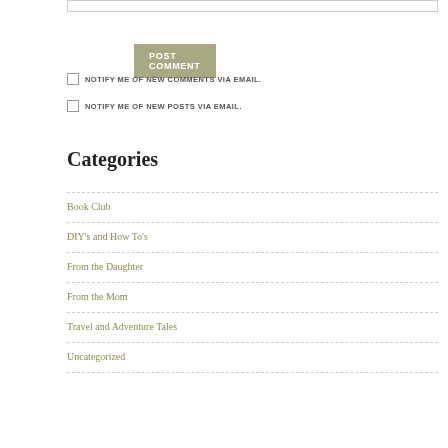POST COMMENT
NOTIFY ME OF NEW COMMENTS VIA EMAIL.
NOTIFY ME OF NEW POSTS VIA EMAIL.
Categories
Book Club
DIY's and How To's
From the Daughter
From the Mom
Travel and Adventure Tales
Uncategorized